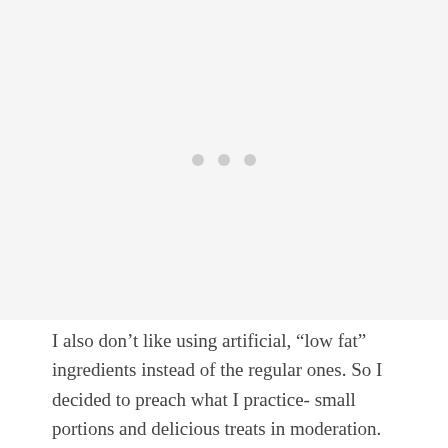[Figure (photo): Image placeholder area with three light gray dots in the center, representing a loading or missing image]
I also don't like using artificial, "low fat" ingredients instead of the regular ones. So I decided to preach what I practice- small portions and delicious treats in moderation.
This recipe makes the smallest batch of chocolate chip